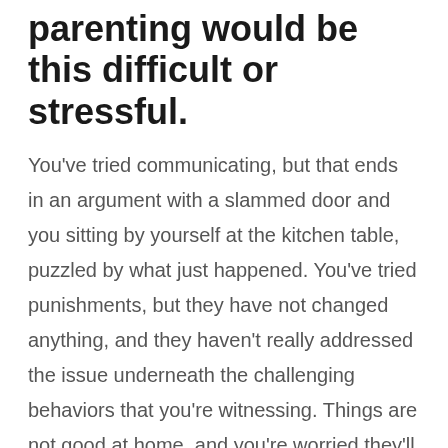parenting would be this difficult or stressful.
You've tried communicating, but that ends in an argument with a slammed door and you sitting by yourself at the kitchen table, puzzled by what just happened. You've tried punishments, but they have not changed anything, and they haven't really addressed the issue underneath the challenging behaviors that you're witnessing. Things are not good at home, and you're worried they'll only get worse. You see your teen now as an overwhelmed, annoyed, uptight